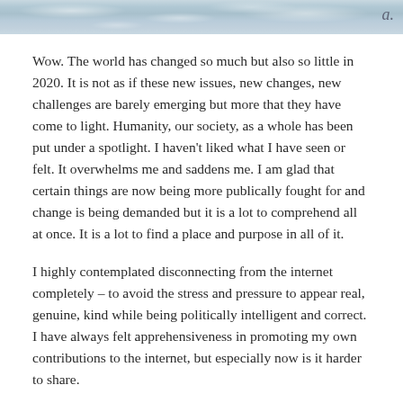[Figure (photo): Water surface photo banner at the top of the page showing rippling water with light reflections, with a cursive watermark in the top right corner]
Wow. The world has changed so much but also so little in 2020. It is not as if these new issues, new changes, new challenges are barely emerging but more that they have come to light. Humanity, our society, as a whole has been put under a spotlight. I haven't liked what I have seen or felt. It overwhelms me and saddens me. I am glad that certain things are now being more publically fought for and change is being demanded but it is a lot to comprehend all at once. It is a lot to find a place and purpose in all of it.
I highly contemplated disconnecting from the internet completely – to avoid the stress and pressure to appear real, genuine, kind while being politically intelligent and correct. I have always felt apprehensiveness in promoting my own contributions to the internet, but especially now is it harder to share.